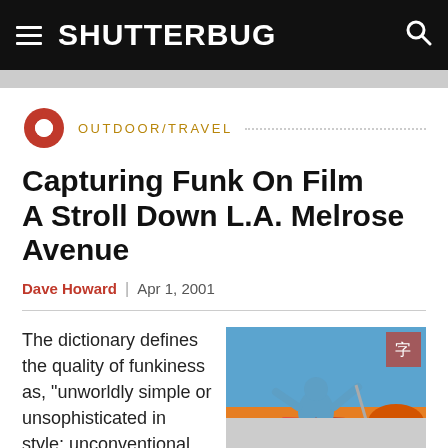SHUTTERBUG
OUTDOOR/TRAVEL
Capturing Funk On Film A Stroll Down L.A. Melrose Avenue
Dave Howard  |  Apr 1, 2001
The dictionary defines the quality of funkiness as, "unworldly simple or unsophisticated in style; unconventional and individualistic in behavior
[Figure (photo): Colorful mural artwork depicting a blue mythological warrior figure with weapons against a red and orange background]